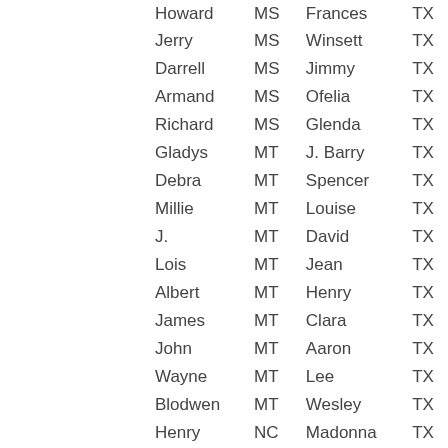| Howard | MS | Frances | TX |
| Jerry | MS | Winsett | TX |
| Darrell | MS | Jimmy | TX |
| Armand | MS | Ofelia | TX |
| Richard | MS | Glenda | TX |
| Gladys | MT | J. Barry | TX |
| Debra | MT | Spencer | TX |
| Millie | MT | Louise | TX |
| J. | MT | David | TX |
| Lois | MT | Jean | TX |
| Albert | MT | Henry | TX |
| James | MT | Clara | TX |
| John | MT | Aaron | TX |
| Wayne | MT | Lee | TX |
| Blodwen | MT | Wesley | TX |
| Henry | NC | Madonna | TX |
| Jeanette | NC | Sharon | TX |
| Bennie | NC | Dorothy | TX |
| Arlene | NC | Richard | TX |
| Lewis | NC | R. Warren | TX |
| Fredrick | NC | Steve | TX |
| Helen | NC | Alfred | TX |
| C. W. | NC | Bill | TX |
| Lee | NC | lyn | TX |